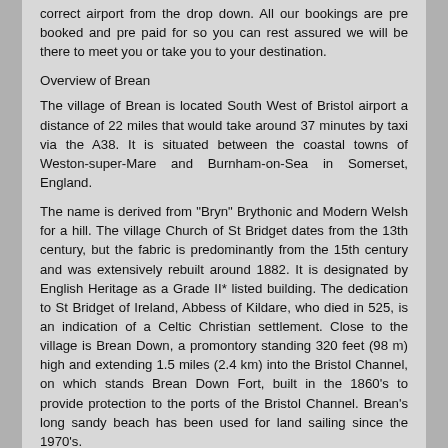correct airport from the drop down. All our bookings are pre booked and pre paid for so you can rest assured we will be there to meet you or take you to your destination.
Overview of Brean
The village of Brean is located South West of Bristol airport a distance of 22 miles that would take around 37 minutes by taxi via the A38. It is situated between the coastal towns of Weston-super-Mare and Burnham-on-Sea in Somerset, England.
The name is derived from "Bryn" Brythonic and Modern Welsh for a hill. The village Church of St Bridget dates from the 13th century, but the fabric is predominantly from the 15th century and was extensively rebuilt around 1882. It is designated by English Heritage as a Grade II* listed building. The dedication to St Bridget of Ireland, Abbess of Kildare, who died in 525, is an indication of a Celtic Christian settlement. Close to the village is Brean Down, a promontory standing 320 feet (98 m) high and extending 1.5 miles (2.4 km) into the Bristol Channel, on which stands Brean Down Fort, built in the 1860's to provide protection to the ports of the Bristol Channel. Brean's long sandy beach has been used for land sailing since the 1970's.
The village is on a strip of land between the sea and the River Axe. Its population of 600 increases nearly 10 fold over the summer months, as it has long been a popular tourist spot. It is the home of Brean Leisure Park, a tropical bird garden, and many other attractions that will be covered as we go along.